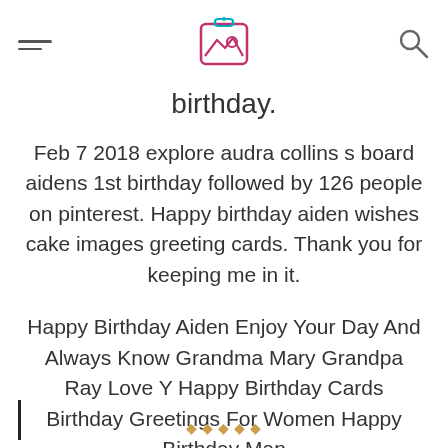[hamburger menu] [image icon logo] [search icon]
birthday.
Feb 7 2018 explore audra collins s board aidens 1st birthday followed by 126 people on pinterest. Happy birthday aiden wishes cake images greeting cards. Thank you for keeping me in it.
Happy Birthday Aiden Enjoy Your Day And Always Know Grandma Mary Grandpa Ray Love Y Happy Birthday Cards Birthday Greetings For Women Happy Birthday Man
| [footer links]